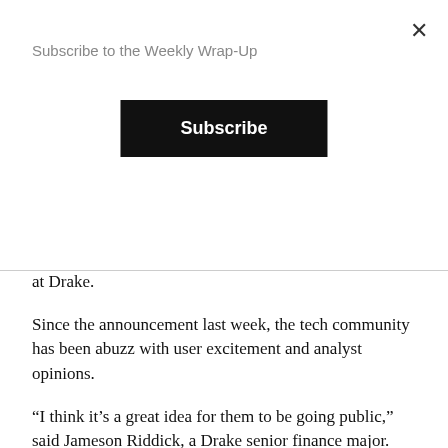Subscribe to the Weekly Wrap-Up
at Drake.
Since the announcement last week, the tech community has been abuzz with user excitement and analyst opinions.
“I think it’s a great idea for them to be going public,” said Jameson Riddick, a Drake senior finance major.
Though Facebook claimed $3.71 billion in revenue in 2011, Long believes that it will be difficult to predict where the social media site could be headed.
“It’s hard to know what the price of Facebook is just